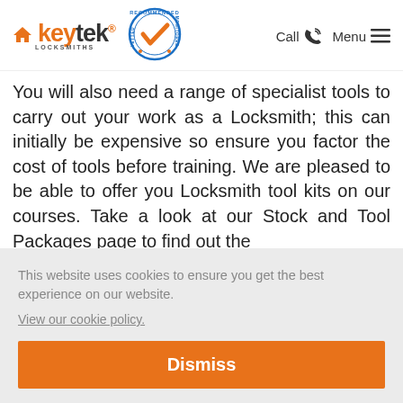keytek LOCKSMITHS — Recommended Vetted Monitored badge — Call | Menu
You will also need a range of specialist tools to carry out your work as a Locksmith; this can initially be expensive so ensure you factor the cost of tools before training. We are pleased to be able to offer you Locksmith tool kits on our courses. Take a look at our Stock and Tool Packages page to find out the
This website uses cookies to ensure you get the best experience on our website.
View our cookie policy.
[Dismiss]
will each property you visit. You are able to use any